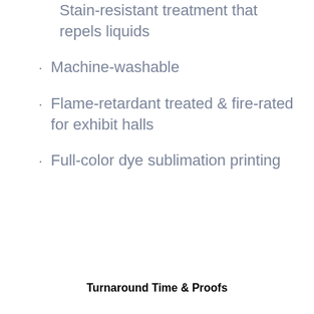Stain-resistant treatment that repels liquids
Machine-washable
Flame-retardant treated & fire-rated for exhibit halls
Full-color dye sublimation printing
Turnaround Time & Proofs